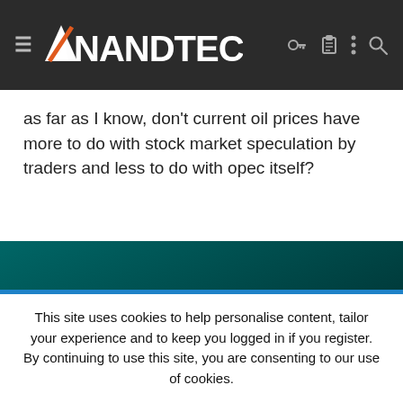≡ AnandTech
as far as I know, don't current oil prices have more to do with stock market speculation by traders and less to do with opec itself?
[Figure (photo): Dark teal/black gradient background image, possibly a video or advertisement placeholder area]
This site uses cookies to help personalise content, tailor your experience and to keep you logged in if you register. By continuing to use this site, you are consenting to our use of cookies.